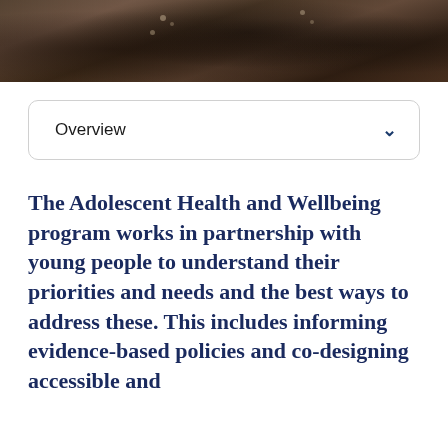[Figure (photo): Banner photo showing people, appears to be adolescents or young people, dark toned photograph cropped at top of page]
Overview
The Adolescent Health and Wellbeing program works in partnership with young people to understand their priorities and needs and the best ways to address these. This includes informing evidence-based policies and co-designing accessible and